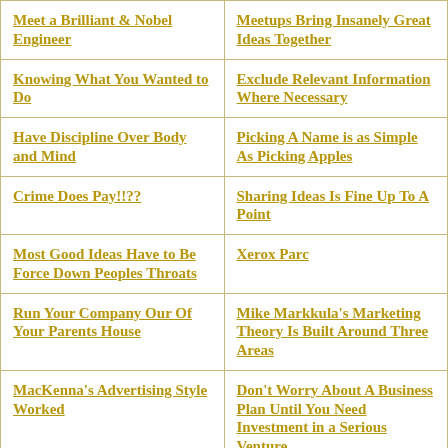| Meet a Brilliant & Nobel Engineer | Meetups Bring Insanely Great Ideas Together |
| Knowing What You Wanted to Do | Exclude Relevant Information Where Necessary |
| Have Discipline Over Body and Mind | Picking A Name is as Simple As Picking Apples |
| Crime Does Pay!!?? | Sharing Ideas Is Fine Up To A Point |
| Most Good Ideas Have to Be Force Down Peoples Throats | Xerox Parc |
| Run Your Company Our Of Your Parents House | Mike Markkula's Marketing Theory Is Built Around Three Areas |
| MacKenna's Advertising Style Worked | Don't Worry About A Business Plan Until You Need Investment in a Serious Venture |
| Create A Simple Product For Households | Your Product Needs to be a Full Simple Package |